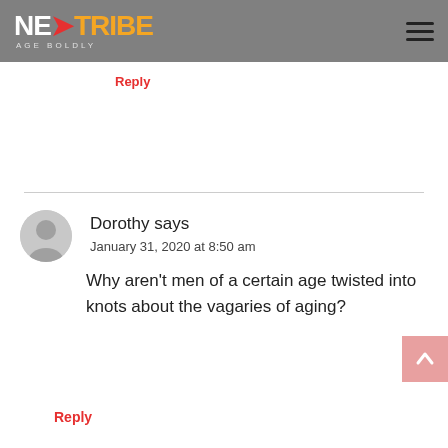NEXTTRIBE AGE BOLDLY
Reply
Dorothy says
January 31, 2020 at 8:50 am
Why aren't men of a certain age twisted into knots about the vagaries of aging?
Reply